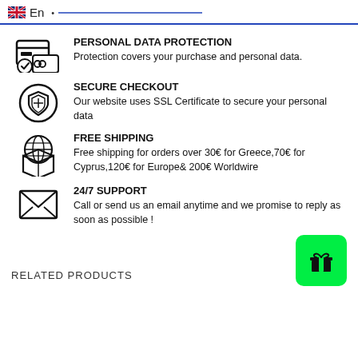En
PERSONAL DATA PROTECTION
Protection covers your purchase and personal data.
SECURE CHECKOUT
Our website uses SSL Certificate to secure your personal data
FREE SHIPPING
Free shipping for orders over 30€ for Greece,70€ for Cyprus,120€ for Europe& 200€ Worldwire
24/7 SUPPORT
Call or send us an email anytime and we promise to reply as soon as possible !
RELATED PRODUCTS